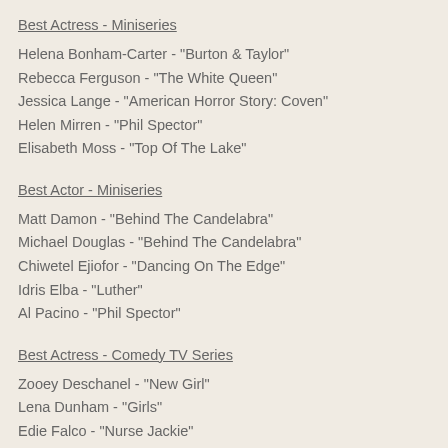Best Actress - Miniseries
Helena Bonham-Carter - "Burton & Taylor"
Rebecca Ferguson - "The White Queen"
Jessica Lange - "American Horror Story: Coven"
Helen Mirren - "Phil Spector"
Elisabeth Moss - "Top Of The Lake"
Best Actor - Miniseries
Matt Damon - "Behind The Candelabra"
Michael Douglas - "Behind The Candelabra"
Chiwetel Ejiofor - "Dancing On The Edge"
Idris Elba - "Luther"
Al Pacino - "Phil Spector"
Best Actress - Comedy TV Series
Zooey Deschanel - "New Girl"
Lena Dunham - "Girls"
Edie Falco - "Nurse Jackie"
Julia Louis-Dreyfus - "Veep"